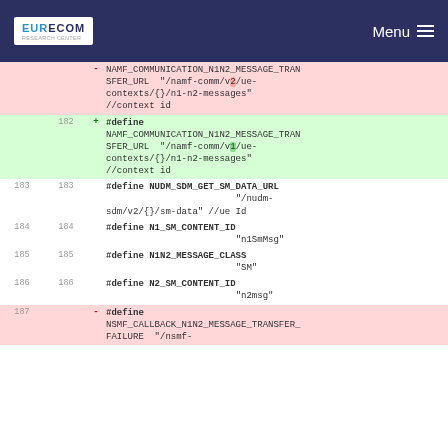EURECOM | Menu
| old_ln | new_ln | sign | code |
| --- | --- | --- | --- |
|  |  | - | NAMF_COMMUNICATION_N1N2_MESSAGE_TRANSFER_URL  "/namf-comm/v2/ue-contexts/{}/n1-n2-messages"  //context id |
| 182 |  | + | #define NAMF_COMMUNICATION_N1N2_MESSAGE_TRANSFER_URL  "/namf-comm/v1/ue-contexts/{}/n1-n2-messages"  //context id |
| 183 | 183 |  | #define NUDM_SDM_GET_SM_DATA_URL                     "/nudm-sdm/v2/{}/sm-data" //ue Id |
| 184 | 184 |  | #define N1_SM_CONTENT_ID                             "n1SmMsg" |
| 185 | 185 |  | #define N1N2_MESSAGE_CLASS                           "SM" |
| 186 | 186 |  | #define N2_SM_CONTENT_ID                             "n2msg" |
| 187 |  | - | #define NSMF_CALLBACK_N1N2_MESSAGE_TRANSFER_FAILURE  "/nsmf- |